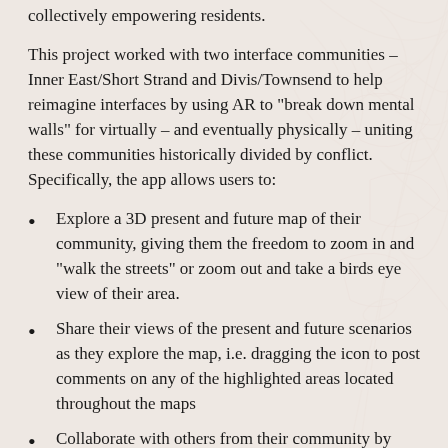collectively empowering residents.
This project worked with two interface communities – Inner East/Short Strand and Divis/Townsend to help reimagine interfaces by using AR to "break down mental walls" for virtually – and eventually physically – uniting these communities historically divided by conflict. Specifically, the app allows users to:
Explore a 3D present and future map of their community, giving them the freedom to zoom in and "walk the streets" or zoom out and take a birds eye view of their area.
Share their views of the present and future scenarios as they explore the map, i.e. dragging the icon to post comments on any of the highlighted areas located throughout the maps
Collaborate with others from their community by